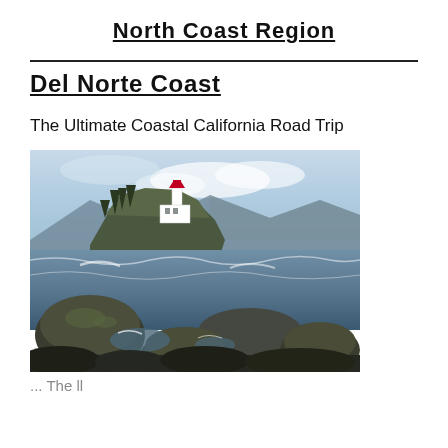North Coast Region
Del Norte Coast
The Ultimate Coastal California Road Trip
[Figure (photo): Coastal scene with a lighthouse on a rocky promontory surrounded by rough ocean waves and large boulders in the foreground, with conifer trees and mountains in the background under a partly cloudy sky.]
The ll